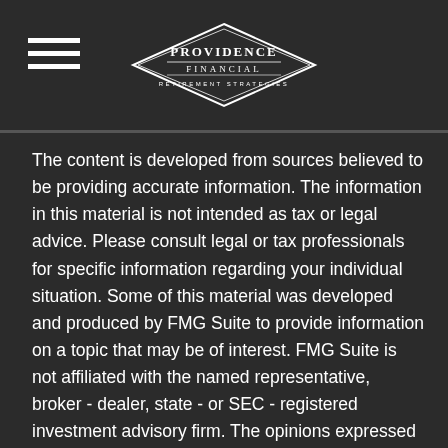Providence Financial Retirement Strategies
The content is developed from sources believed to be providing accurate information. The information in this material is not intended as tax or legal advice. Please consult legal or tax professionals for specific information regarding your individual situation. Some of this material was developed and produced by FMG Suite to provide information on a topic that may be of interest. FMG Suite is not affiliated with the named representative, broker - dealer, state - or SEC - registered investment advisory firm. The opinions expressed and material provided are for general information, and should not be considered a solicitation for the purchase or sale of any security.
We take protecting your data and privacy very seriously. As of January 1, 2020 the California Consumer Privacy Act (CCPA) suggests the following link as an extra measure to safeguard your data: Do not sell my personal